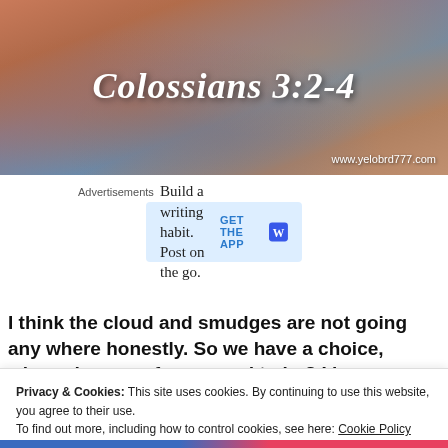[Figure (photo): Hero image of water/ocean surface with warm sunset lighting and overlaid text 'Colossians 3:2-4' in white italic script, with website URL 'www.yelobrd777.com' in bottom right corner]
Advertisements
[Figure (screenshot): WordPress advertisement banner with light blue background. Text: 'Build a writing habit. Post on the go.' with 'GET THE APP' button and WordPress logo on the right side]
I think the cloud and smudges are not going any where honestly. So we have a choice, where does our focus need to be? I know
Privacy & Cookies: This site uses cookies. By continuing to use this website, you agree to their use.
To find out more, including how to control cookies, see here: Cookie Policy
Close and accept